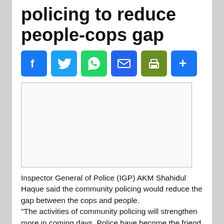policing to reduce people-cops gap
[Figure (other): Social media share buttons: Facebook, Twitter, WhatsApp, Email, Print, More]
[Figure (photo): Image placeholder (empty white rectangle with border)]
Inspector General of Police (IGP) AKM Shahidul Haque said the community policing would reduce the gap between the cops and people. "The activities of community policing will strengthen more in coming days. Police have become the friend of people, none is afraid of police right now," he said while speaking at a conference of community policing at Mymensingh...